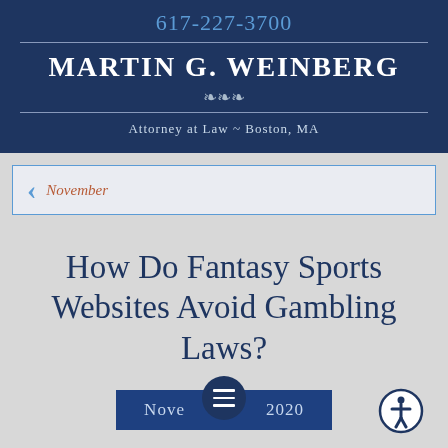617-227-3700
MARTIN G. WEINBERG
Attorney at Law ~ Boston, MA
November
How Do Fantasy Sports Websites Avoid Gambling Laws?
November 2020